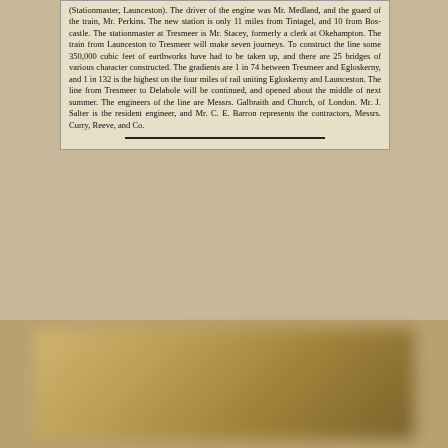(Stationmaster, Launceston). The driver of the engine was Mr. Medland, and the guard of the train, Mr. Perkins. The new station is only 11 miles from Tintagel, and 10 from Boscastle. The stationmaster at Tresmeer is Mr. Stacey, formerly a clerk at Okehampton. The train from Launceston to Tresmeer will make seven journeys. To construct the line some 350,000 cubic feet of earthworks have had to be taken up, and there are 25 bridges of various character constructed. The gradients are 1 in 74 between Tresmeer and Egloskerny, and 1 in 132 is the highest on the four miles of rail uniting Egloskerny and Launceston. The line from Tresmeer to Delabole will be continued, and opened about the middle of next summer. The engineers of the line are Messrs. Galbraith and Church, of London. Mr. J. Salter is the resident engineer, and Mr. C. E. Barron represents the contractors, Messrs. Curry, Reeve, and Co.
[Figure (photo): Blurred/obscured photograph, appears to show a building or structure, heavily blurred and not legible.]